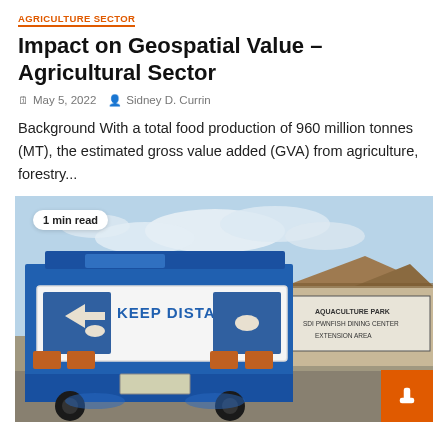AGRICULTURE SECTOR
Impact on Geospatial Value – Agricultural Sector
May 5, 2022   Sidney D. Currin
Background With a total food production of 960 million tonnes (MT), the estimated gross value added (GVA) from agriculture, forestry...
[Figure (photo): Rear of a blue freight truck with 'KEEP DISTANCE' signage, and a sign for an aquaculture park and fish dining center extension area in the background. An orange button/icon overlaid at bottom right. Badge reads '1 min read'.]